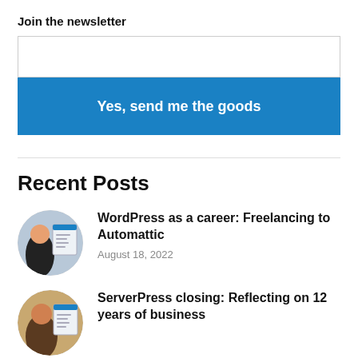Join the newsletter
Yes, send me the goods
Recent Posts
WordPress as a career: Freelancing to Automattic
August 18, 2022
ServerPress closing: Reflecting on 12 years of business